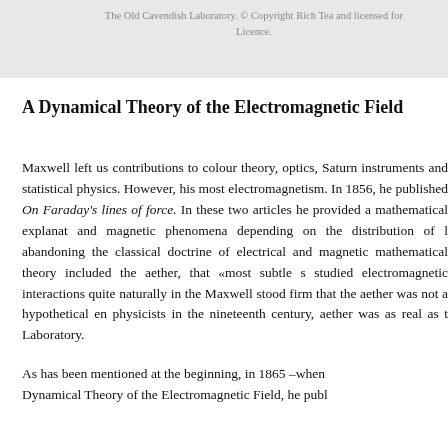The Old Cavendish Laboratory. © Copyright Rich Tea and licensed for Licence.
A Dynamical Theory of the Electromagnetic Field
Maxwell left us contributions to colour theory, optics, Saturn instruments and statistical physics. However, his most electromagnetism. In 1856, he published On Faraday's lines of force. In these two articles he provided a mathematical explanation and magnetic phenomena depending on the distribution of abandoning the classical doctrine of electrical and magnetic mathematical theory included the aether, that «most subtle s studied electromagnetic interactions quite naturally in the Maxwell stood firm that the aether was not a hypothetical en physicists in the nineteenth century, aether was as real as t Laboratory.
As has been mentioned at the beginning, in 1865 –when Dynamical Theory of the Electromagnetic Field, he pub